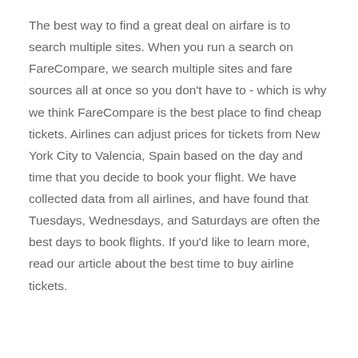The best way to find a great deal on airfare is to search multiple sites. When you run a search on FareCompare, we search multiple sites and fare sources all at once so you don't have to - which is why we think FareCompare is the best place to find cheap tickets. Airlines can adjust prices for tickets from New York City to Valencia, Spain based on the day and time that you decide to book your flight. We have collected data from all airlines, and have found that Tuesdays, Wednesdays, and Saturdays are often the best days to book flights. If you'd like to learn more, read our article about the best time to buy airline tickets.